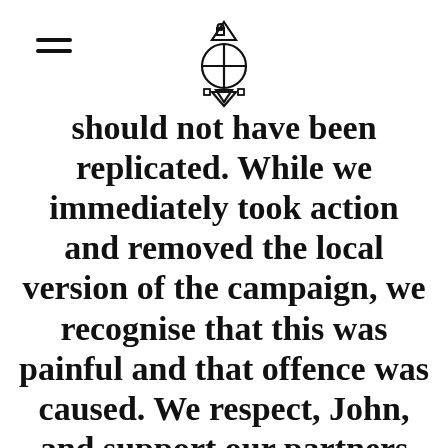[hamburger menu icon] [logo icon]
should not have been replicated. While we immediately took action and removed the local version of the campaign, we recognise that this was painful and that offence was caused. We respect, John, and support our partners and fans globally. We are taking this misstep very